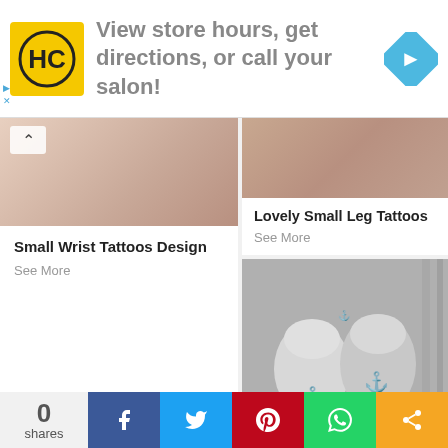[Figure (other): Advertisement banner: HC logo (yellow/black), text 'View store hours, get directions, or call your salon!', blue diamond arrow icon on right]
[Figure (photo): Cropped photo of a wrist with a tattoo, partially visible]
Small Wrist Tattoos Design
See More
[Figure (photo): Cropped photo showing leg tattoo area, partially visible at top]
Lovely Small Leg Tattoos
See More
[Figure (photo): Black and white photo of two fists bumping together showing anchor tattoos on wrists]
Baffling Small Couple Tattoo
See More
0 shares | Facebook | Twitter | Pinterest | WhatsApp | Share